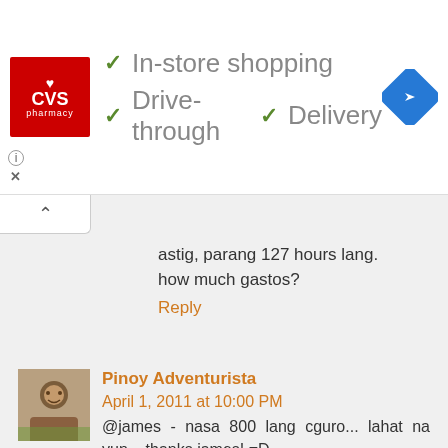[Figure (screenshot): CVS Pharmacy advertisement banner showing logo and store features: In-store shopping, Drive-through, Delivery with checkmarks and a navigation icon]
astig, parang 127 hours lang.
how much gastos?
Reply
Pinoy Adventurista   April 1, 2011 at 10:00 PM
@james - nasa 800 lang cguro... lahat na yun... thanks james! =D
Reply
Pinoy Adventurista   May 3, 2011 at 6:03 PM
@penelope - actually i'm still looking at it as i